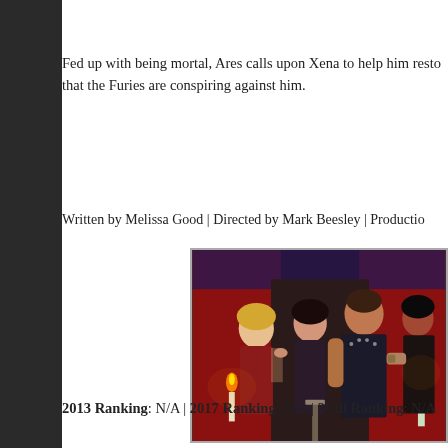Fed up with being mortal, Ares calls upon Xena to help him restore his godhood, only to discover that the Furies are conspiring against him.
Written by Melissa Good | Directed by Mark Beesley | Production...
[Figure (photo): Scene from a TV show featuring several characters in costume including a blonde woman, dark-haired figures in leather/fantasy outfits, and candles in the background with red curtains.]
2013 Ranking: N/A | 2017 Ranking: N/A | 2020 Ranking: N/A